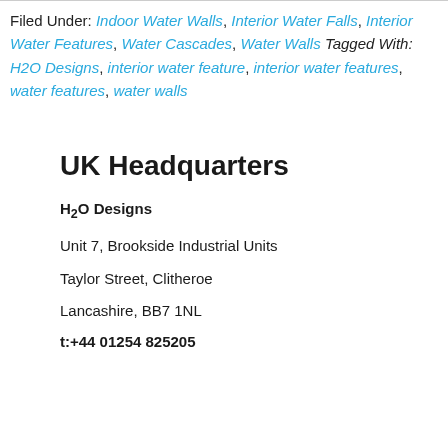Filed Under: Indoor Water Walls, Interior Water Falls, Interior Water Features, Water Cascades, Water Walls Tagged With: H2O Designs, interior water feature, interior water features, water features, water walls
UK Headquarters
H2O Designs
Unit 7, Brookside Industrial Units
Taylor Street, Clitheroe
Lancashire, BB7 1NL
t:+44 01254 825205